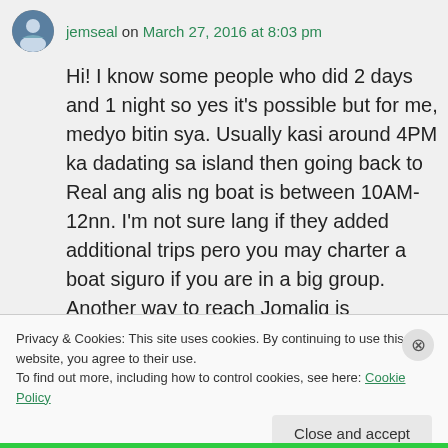jemseal on March 27, 2016 at 8:03 pm
Hi! I know some people who did 2 days and 1 night so yes it's possible but for me, medyo bitin sya. Usually kasi around 4PM ka dadating sa island then going back to Real ang alis ng boat is between 10AM-12nn. I'm not sure lang if they added additional trips pero you may charter a boat siguro if you are in a big group. Another way to reach Jomalig is chartering a plane.
Privacy & Cookies: This site uses cookies. By continuing to use this website, you agree to their use.
To find out more, including how to control cookies, see here: Cookie Policy